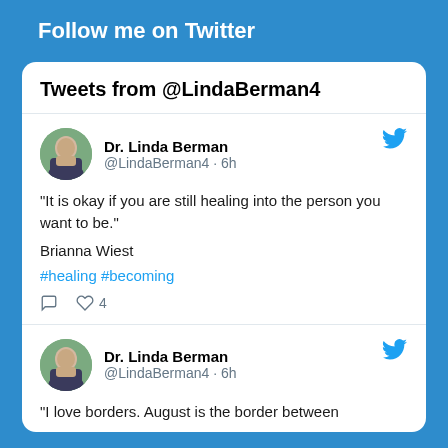Follow me on Twitter
Tweets from @LindaBerman4
Dr. Linda Berman
@LindaBerman4 · 6h
“It is okay if you are still healing into the person you want to be.”

Brianna Wiest

#healing #becoming

♡ 4
Dr. Linda Berman
@LindaBerman4 · 6h
“I love borders. August is the border between